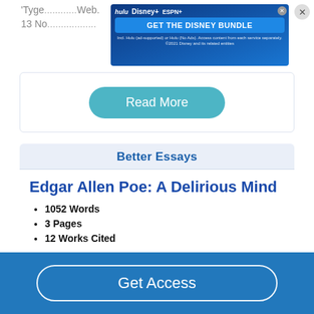'Tyge... Web. 13 No...
[Figure (screenshot): Disney Bundle advertisement banner with Hulu, Disney+, ESPN+ logos and 'GET THE DISNEY BUNDLE' call to action button]
Read More
Better Essays
Edgar Allen Poe: A Delirious Mind
1052 Words
3 Pages
12 Works Cited
Elizabeth could not preform when she was pregnant, but as soon as Edgar was born she was
Get Access